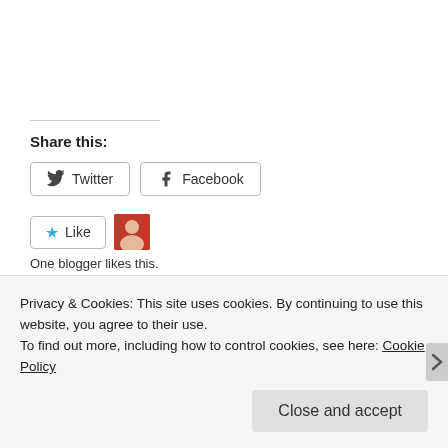Share this:
Twitter
Facebook
Like
One blogger likes this.
Related
Privacy & Cookies: This site uses cookies. By continuing to use this website, you agree to their use.
To find out more, including how to control cookies, see here: Cookie Policy
Close and accept